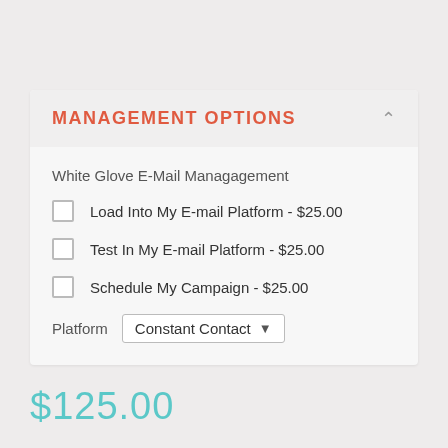MANAGEMENT OPTIONS
White Glove E-Mail Managagement
Load Into My E-mail Platform - $25.00
Test In My E-mail Platform - $25.00
Schedule My Campaign - $25.00
Platform   Constant Contact
$125.00